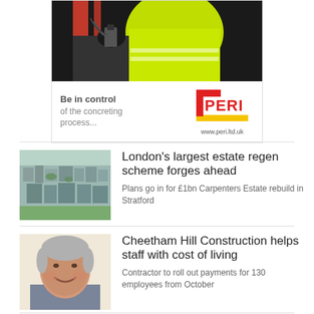[Figure (photo): PERI advertisement showing worker in hi-vis jacket using concreting equipment on red scaffolding. Ad text reads: Be in control of the concreting process... with PERI logo and www.peri.ltd.uk]
[Figure (photo): Aerial photograph of urban estate in London, showing densely packed buildings]
London’s largest estate regen scheme forges ahead
Plans go in for £1bn Carpenters Estate rebuild in Stratford
[Figure (photo): Portrait photo of a smiling older man in a suit]
Cheetham Hill Construction helps staff with cost of living
Contractor to roll out payments for 130 employees from October